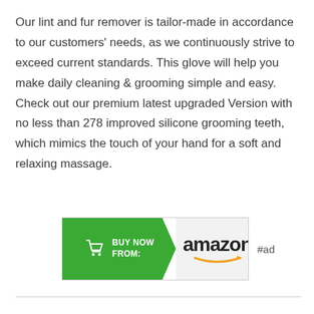Our lint and fur remover is tailor-made in accordance to our customers' needs, as we continuously strive to exceed current standards. This glove will help you make daily cleaning & grooming simple and easy. Check out our premium latest upgraded Version with no less than 278 improved silicone grooming teeth, which mimics the touch of your hand for a soft and relaxing massage.
[Figure (other): Amazon 'Buy Now From' banner button with green arrow badge and amazon logo with smile arrow, followed by '#ad' text]